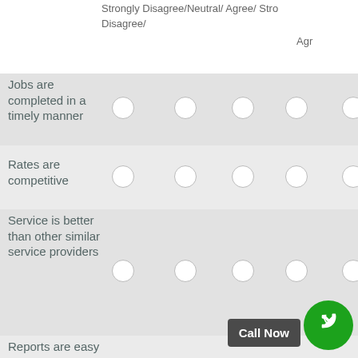|  | Strongly Disagree/ | Disagree/Neutral/ | Agree/ | Strongly Agree/... |
| --- | --- | --- | --- | --- |
| Jobs are completed in a timely manner | ○ | ○ | ○ | ○ | ○ |
| Rates are competitive | ○ | ○ | ○ | ○ | ○ |
| Service is better than other similar service providers | ○ | ○ | ○ | ○ | ○ |
| Reports are easy to use & understand | ○ | ○ | ○ | ○ | ○ |
| Good communication throughout project | ○ | ○ | ○ | ○ | ○ |
| I would recommend | ○ | ○ | ○ | ○ | ○ |